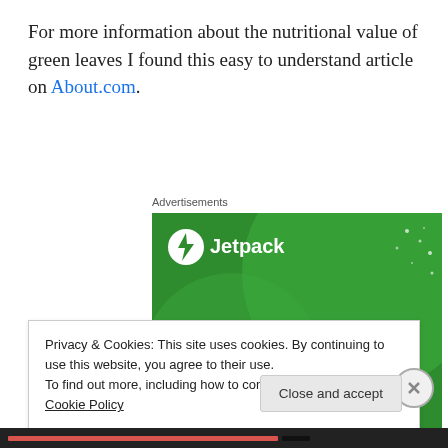For more information about the nutritional value of green leaves I found this easy to understand article on About.com.
Advertisements
[Figure (infographic): Jetpack advertisement banner with green background, Jetpack logo with lightning bolt icon, and text 'The best real-time WordPress backup plugin']
Privacy & Cookies: This site uses cookies. By continuing to use this website, you agree to their use.
To find out more, including how to control cookies, see here: Cookie Policy